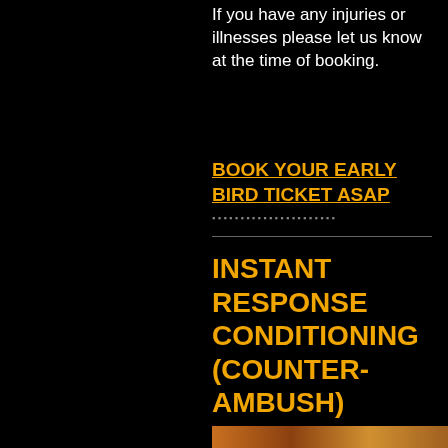If you have any injuries or illnesses please let us know at the time of booking.
BOOK YOUR EARLY BIRD TICKET ASAP
INSTANT RESPONSE CONDITIONING (COUNTER-AMBUSH)
[Figure (photo): Partial photo strip visible at bottom of page showing warm tones]